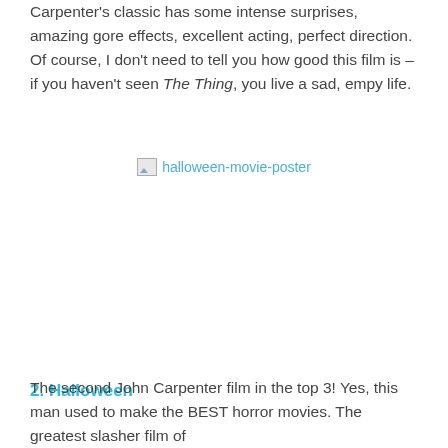Carpenter's classic has some intense surprises, amazing gore effects, excellent acting, perfect direction.  Of course, I don't need to tell you how good this film is – if you haven't seen The Thing, you live a sad, empy life.
[Figure (photo): Broken image placeholder labeled 'halloween-movie-poster']
2. Halloween
The second John Carpenter film in the top 3!  Yes, this man used to make the BEST horror movies.  The greatest slasher film of